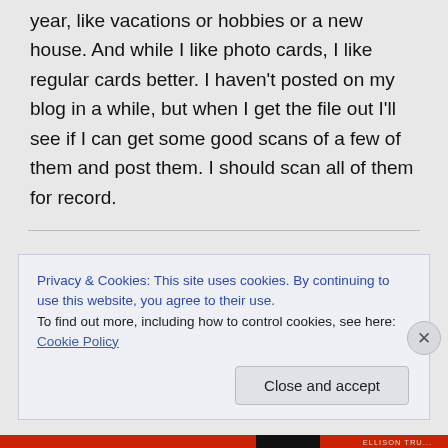year, like vacations or hobbies or a new house. And while I like photo cards, I like regular cards better. I haven't posted on my blog in a while, but when I get the file out I'll see if I can get some good scans of a few of them and post them. I should scan all of them for record.
Privacy & Cookies: This site uses cookies. By continuing to use this website, you agree to their use.
To find out more, including how to control cookies, see here: Cookie Policy
Close and accept
ELLISON TRU...